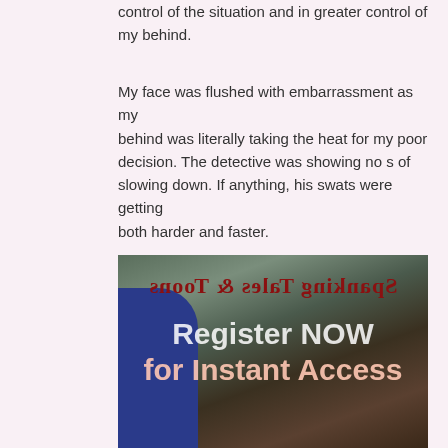control of the situation and in greater control of my behind.
My face was flushed with embarrassment as my behind was literally taking the heat for my poor decision. The detective was showing no s of slowing down. If anything, his swats were getting both harder and faster.
[Figure (illustration): Animation still with mirrored text 'Spanking Tales & Toons' overlaid, and text overlay 'Register NOW for Instant Access']